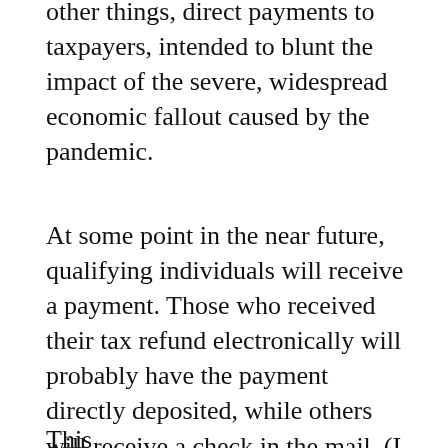other things, direct payments to taxpayers, intended to blunt the impact of the severe, widespread economic fallout caused by the pandemic.
At some point in the near future, qualifying individuals will receive a payment. Those who received their tax refund electronically will probably have the payment directly deposited, while others will receive a check in the mail. (I think they are working on setting up a portal so that people who did not provide direct deposit information for 2019 taxes can set it up in lieu of a paper check, but I don't know all the details.)
This...